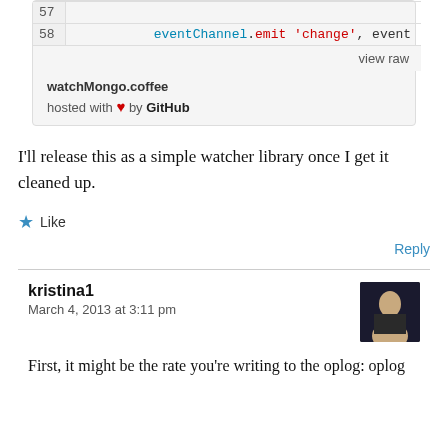[Figure (screenshot): Code block showing line 57 (empty) and line 58: eventChannel.emit 'change', event, with a 'view raw' link. Footer shows watchMongo.coffee hosted with heart by GitHub.]
I'll release this as a simple watcher library once I get it cleaned up.
★ Like
Reply
kristina1
March 4, 2013 at 3:11 pm
First, it might be the rate you're writing to the oplog: oplog